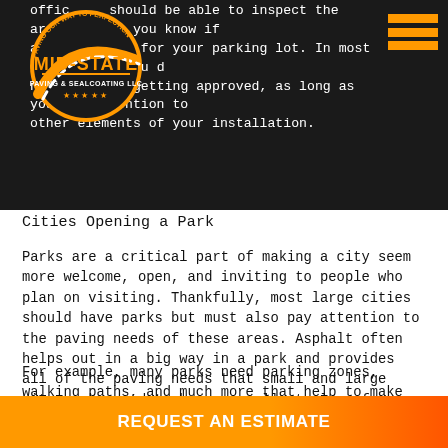officer should be able to inspect the area and let you know if approved for your parking lot. In most cases, you shouldn't have trouble getting approved, as long as you pay attention to other elements of your installation.
[Figure (logo): Mid-State Paving & Sealcoating LLC logo — circular badge with orange road and text]
Cities Opening a Park
Parks are a critical part of making a city seem more welcome, open, and inviting to people who plan on visiting. Thankfully, most large cities should have parks but must also pay attention to the paving needs of these areas. Asphalt often helps out in a big way in a park and provides all of the paving needs that small and large city parks need to be an excellent place for people to walk, jog, take their dog to play, or even go on a picnic with their family during the warmer months of the year.
For example, many parks need parking zones, walking paths, and much more that help to make your park more stable. In some
REQUEST AN ESTIMATE